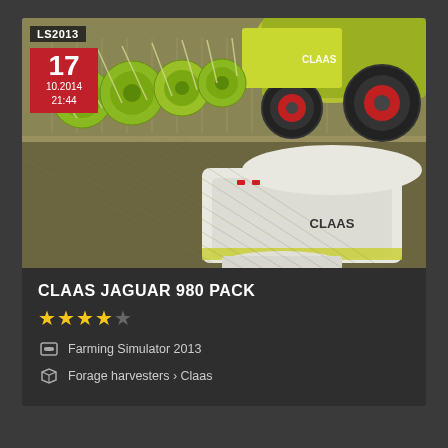[Figure (screenshot): Screenshot of a Farming Simulator 2013 mod listing page showing CLAAS JAGUAR 980 harvester machinery in a field, with an LS2013 badge and date stamp '17 / 10.2014 / 21:44' overlaid on the image.]
CLAAS JAGUAR 980 PACK
★★★★☆ (4 out of 5 stars)
Farming Simulator 2013
Forage harvesters › Claas